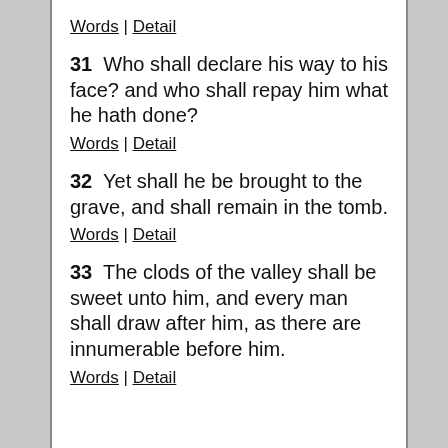Words | Detail
31  Who shall declare his way to his face? and who shall repay him what he hath done?
Words | Detail
32  Yet shall he be brought to the grave, and shall remain in the tomb.
Words | Detail
33  The clods of the valley shall be sweet unto him, and every man shall draw after him, as there are innumerable before him.
Words | Detail